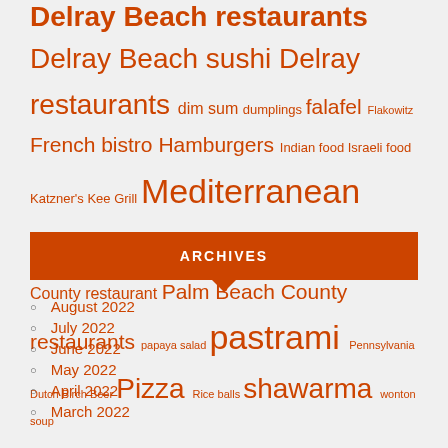Delray Beach restaurants
Delray Beach sushi Delray restaurants dim sum dumplings falafel Flakowitz French bistro Hamburgers Indian food Israeli food Katzner's Kee Grill Mediterranean food naan outdoor dining Palm Beach County restaurant Palm Beach County restaurants papaya salad pastrami Pennsylvania Dutch Birch Beer Pizza Rice balls shawarma wonton soup
ARCHIVES
August 2022
July 2022
June 2022
May 2022
April 2022
March 2022